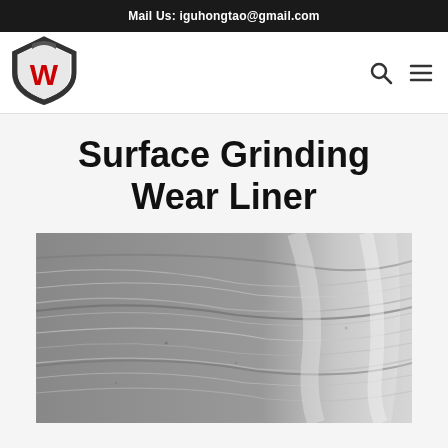Mail Us: iguhongtao@gmail.com
[Figure (logo): Shield logo with red letter W, grey shield outline]
Surface Grinding Wear Liner
[Figure (photo): Close-up black and white photo of a metallic surface grinding wear liner showing curved scratch patterns and surface texture]